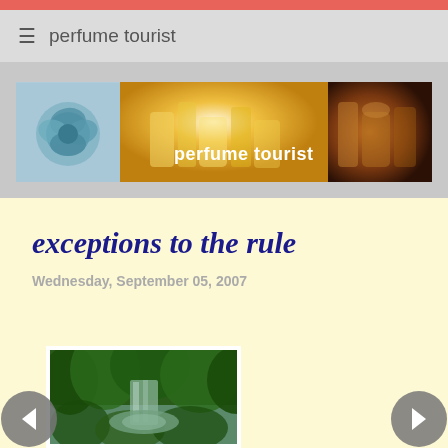perfume tourist
[Figure (illustration): Blog banner image for 'perfume tourist' featuring a triptych: left panel shows a blue/teal paper rose, center panel shows golden perfume bottles with bright light, right panel shows amber-colored perfume bottles in dark warm tones, with white text 'perfume tourist' overlaid on the right side]
exceptions to the rule
Wednesday, September 05, 2007
[Figure (photo): A lush green tropical waterfall and foliage scene]